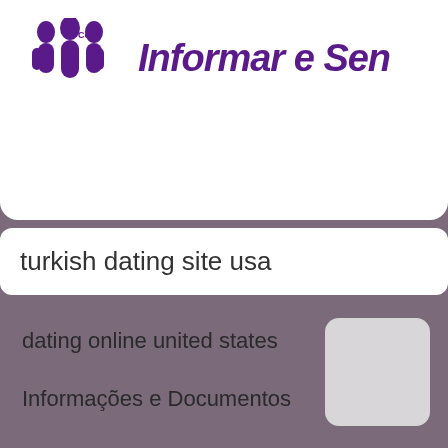[Figure (logo): Purple stylized people/figures logo with 'Contr' text, followed by partial heading 'Informar e Sen' in bold purple italic]
turkish dating site usa
dating online united states
Informações e Documentos    Materiais
speed dating ldk